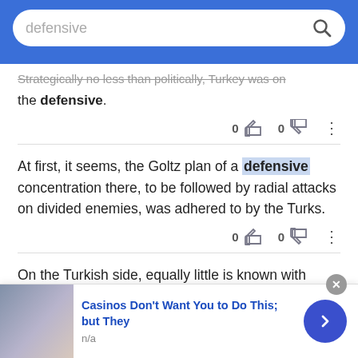defensive
Strategically no less than politically, Turkey was on the defensive.
0  0
At first, it seems, the Goltz plan of a defensive concentration there, to be followed by radial attacks on divided enemies, was adhered to by the Turks.
0  0
On the Turkish side, equally little is known with certainty as to the original project, though it is probably safe to say that this consisted in a
Casinos Don't Want You to Do This; but They
n/a